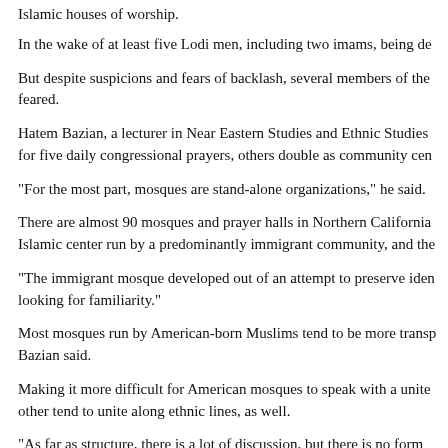Islamic houses of worship.
In the wake of at least five Lodi men, including two imams, being de
But despite suspicions and fears of backlash, several members of the feared.
Hatem Bazian, a lecturer in Near Eastern Studies and Ethnic Studies for five daily congressional prayers, others double as community cen
"For the most part, mosques are stand-alone organizations," he said.
There are almost 90 mosques and prayer halls in Northern California Islamic center run by a predominantly immigrant community, and the
"The immigrant mosque developed out of an attempt to preserve iden looking for familiarity."
Most mosques run by American-born Muslims tend to be more transp Bazian said.
Making it more difficult for American mosques to speak with a unite other tend to unite along ethnic lines, as well.
"As far as structure, there is a lot of discussion, but there is no form